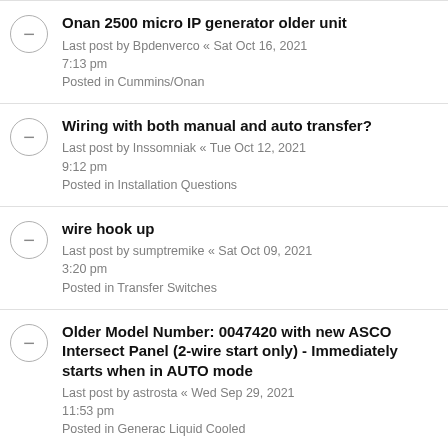Onan 2500 micro IP generator older unit
Last post by Bpdenverco « Sat Oct 16, 2021 7:13 pm
Posted in Cummins/Onan
Wiring with both manual and auto transfer?
Last post by Inssomniak « Tue Oct 12, 2021 9:12 pm
Posted in Installation Questions
wire hook up
Last post by sumptremike « Sat Oct 09, 2021 3:20 pm
Posted in Transfer Switches
Older Model Number: 0047420 with new ASCO Intersect Panel (2-wire start only) - Immediately starts when in AUTO mode
Last post by astrosta « Wed Sep 29, 2021 11:53 pm
Posted in Generac Liquid Cooled